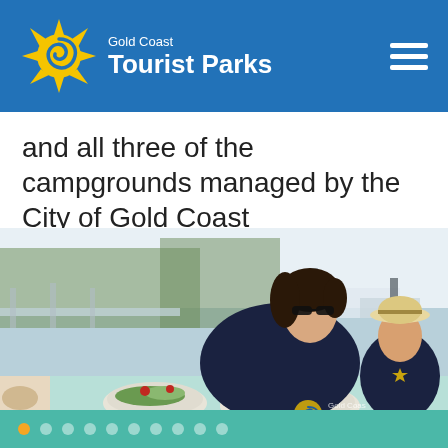Gold Coast Tourist Parks
and all three of the campgrounds managed by the City of Gold Coast
[Figure (photo): A woman wearing sunglasses and a child wearing a straw hat sitting at an outdoor table by a marina, with a plate of seafood (lobster) and a salad bowl in front of them. Gold Coast Tourist Parks watermark visible in the bottom right corner.]